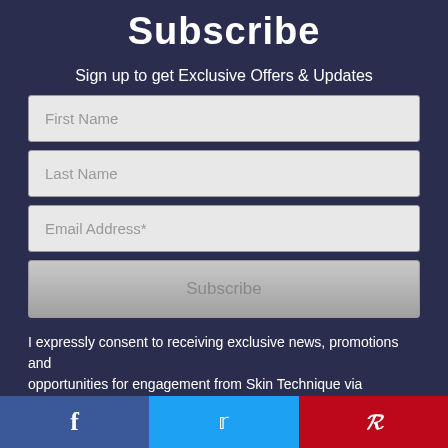Subscribe
Sign up to get Exclusive Offers & Updates
[Figure (screenshot): Web subscription form with three input fields (First Name, Last Name, Email Address*) and a Subscribe button on a dark navy background]
I expressly consent to receiving exclusive news, promotions and opportunities for engagement from Skin Technique via electronic
[Figure (infographic): Social media share bar with three buttons: Facebook (blue), Twitter (light blue), Pinterest (red)]